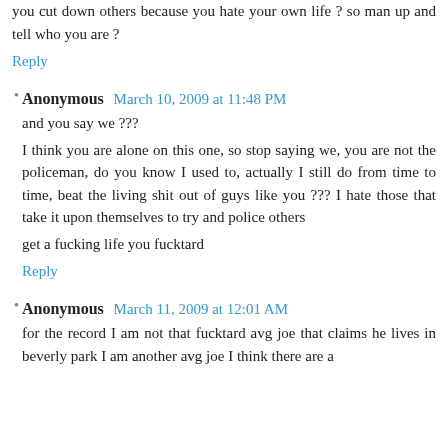you cut down others because you hate your own life ? so man up and tell who you are ?
Reply
Anonymous  March 10, 2009 at 11:48 PM
and you say we ???
I think you are alone on this one, so stop saying we, you are not the policeman, do you know I used to, actually I still do from time to time, beat the living shit out of guys like you ??? I hate those that take it upon themselves to try and police others
get a fucking life you fucktard
Reply
Anonymous  March 11, 2009 at 12:01 AM
for the record I am not that fucktard avg joe that claims he lives in beverly park I am another avg joe I think there are a